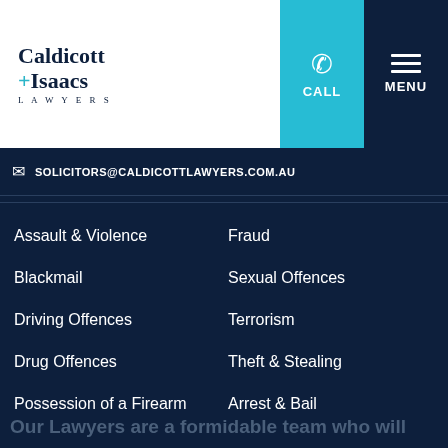[Figure (logo): Caldicott + Isaacs Lawyers logo with teal cross symbol]
SOLICITORS@CALDICOTTLAWYERS.COM.AU
Assault & Violence
Fraud
Blackmail
Sexual Offences
Driving Offences
Terrorism
Drug Offences
Theft & Stealing
Possession of a Firearm
Arrest & Bail
Our Lawyers are a formidable team who will